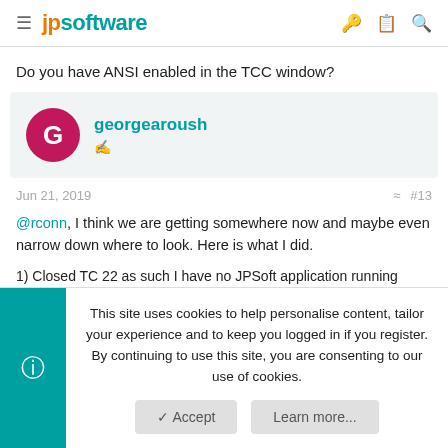jpsoftware
Do you have ANSI enabled in the TCC window?
georgearoush
Jun 21, 2019  #13
@rconn, I think we are getting somewhere now and maybe even narrow down where to look. Here is what I did.
1) Closed TC 22 as such I have no JPSoft application running
This site uses cookies to help personalise content, tailor your experience and to keep you logged in if you register. By continuing to use this site, you are consenting to our use of cookies.